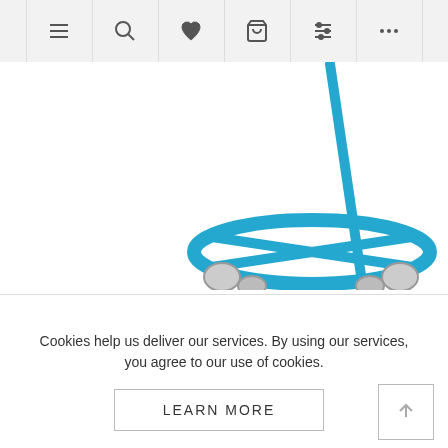Navigation bar with icons: menu, search, wishlist, cart, filter, more
[Figure (photo): Blue metal drum dolly/trolley with a long blue handle and four casters, on a white background]
Cookies help us deliver our services. By using our services, you agree to our use of cookies.
OK
LEARN MORE